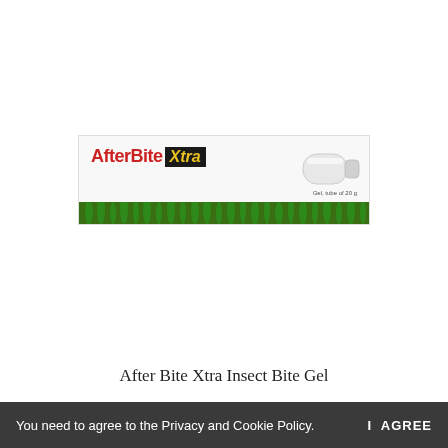[Figure (photo): After Bite Xtra Insect Bite Gel product package — a rectangular white/light-grey box with green grass decoration along the bottom, showing the brand name 'After Bite Xtra' in red and yellow-on-black lettering, with a white tube visible inside. Text reads 'Gel, tube of 20 g'.]
After Bite Xtra Insect Bite Gel
You need to agree to the Privacy and Cookie Policy.   I AGREE